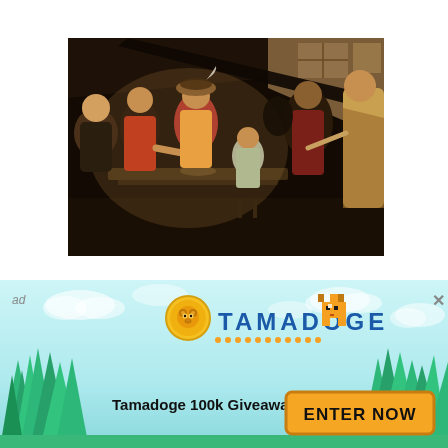[Figure (illustration): Caravaggio-style baroque painting showing a group of figures gathered around a table in a dimly lit room. Several men and boys are seated or standing, with dramatic chiaroscuro lighting. The scene appears to depict The Calling of Saint Matthew, with figures in 16th/17th century clothing.]
[Figure (infographic): Advertisement banner for Tamadoge 100k Giveaway. Light blue sky background with clouds and green pine trees. Features a gold coin logo with bear face, the text TAMADOGE in blue letters, a pixel-art dog character, the text 'Tamadoge 100k Giveaway' in bold, and an orange 'ENTER NOW' button. Small 'ad' label in top left and X close button in top right.]